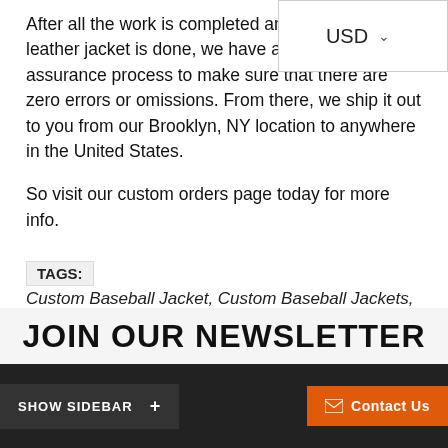After all the work is completed and the custom leather jacket is done, we have a thorough quality assurance process to make sure that there are zero errors or omissions. From there, we ship it out to you from our Brooklyn, NY location to anywhere in the United States.
So visit our custom orders page today for more info.
TAGS: Custom Baseball Jacket, Custom Baseball Jackets, Custom Leather Baseball Jacket, custom leather jacket, Leather Baseball Jacket
[Figure (screenshot): Social share buttons: Like 0 (Facebook, blue), Tweet (Twitter, blue), Save (Pinterest, red), Share (red-orange)]
JOIN OUR NEWSLETTER
SHOW SIDEBAR +    Contact Us